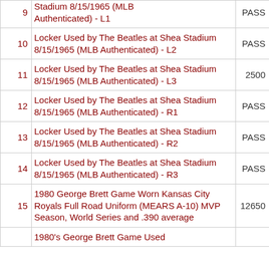| # | Description | Value |
| --- | --- | --- |
| 9 | Stadium 8/15/1965 (MLB Authenticated) - L1 | PASS |
| 10 | Locker Used by The Beatles at Shea Stadium 8/15/1965 (MLB Authenticated) - L2 | PASS |
| 11 | Locker Used by The Beatles at Shea Stadium 8/15/1965 (MLB Authenticated) - L3 | 2500 |
| 12 | Locker Used by The Beatles at Shea Stadium 8/15/1965 (MLB Authenticated) - R1 | PASS |
| 13 | Locker Used by The Beatles at Shea Stadium 8/15/1965 (MLB Authenticated) - R2 | PASS |
| 14 | Locker Used by The Beatles at Shea Stadium 8/15/1965 (MLB Authenticated) - R3 | PASS |
| 15 | 1980 George Brett Game Worn Kansas City Royals Full Road Uniform (MEARS A-10) MVP Season, World Series and .390 average | 12650 |
|  | 1980's George Brett Game Used |  |